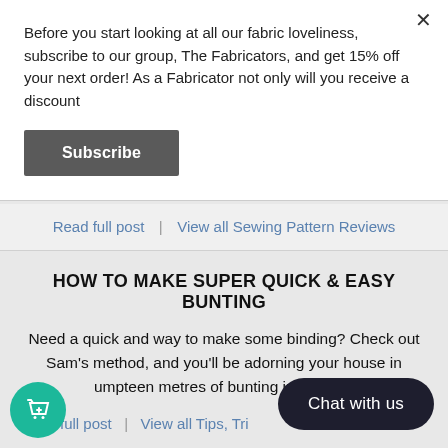Before you start looking at all our fabric loveliness, subscribe to our group, The Fabricators, and get 15% off your next order! As a Fabricator not only will you receive a discount
Subscribe
Read full post  |  View all Sewing Pattern Reviews
HOW TO MAKE SUPER QUICK & EASY BUNTING
Need a quick and way to make some binding? Check out Sam's method, and you'll be adorning your house in umpteen metres of bunting in no time!
Read full post  |  View all Tips, Tr…
Chat with us